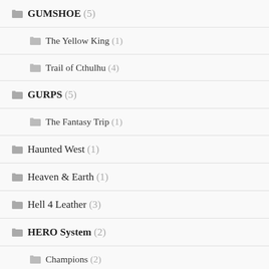GUMSHOE (5)
The Yellow King (1)
Trail of Cthulhu (4)
GURPS (5)
The Fantasy Trip (1)
Haunted West (1)
Heaven & Earth (1)
Hell 4 Leather (3)
HERO System (2)
Champions (2)